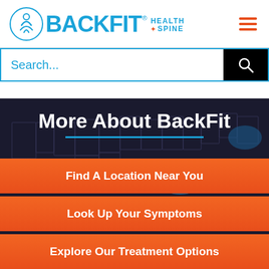[Figure (logo): BackFit Health + Spine logo with circular icon and blue text]
[Figure (screenshot): Search bar with 'Search...' placeholder text in blue and black search button with magnifying glass icon]
More About BackFit
[Figure (map): Dark US map background showing state outlines with blue highlighted locations]
Find A Location Near You
Look Up Your Symptoms
Explore Our Treatment Options